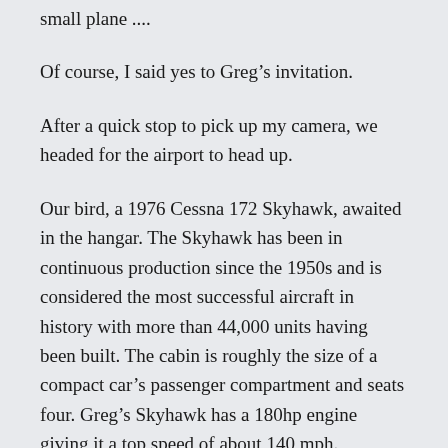small plane ....
Of course, I said yes to Greg’s invitation.
After a quick stop to pick up my camera, we headed for the airport to head up.
Our bird, a 1976 Cessna 172 Skyhawk, awaited in the hangar. The Skyhawk has been in continuous production since the 1950s and is considered the most successful aircraft in history with more than 44,000 units having been built. The cabin is roughly the size of a compact car’s passenger compartment and seats four. Greg’s Skyhawk has a 180hp engine giving it a top speed of about 140 mph.